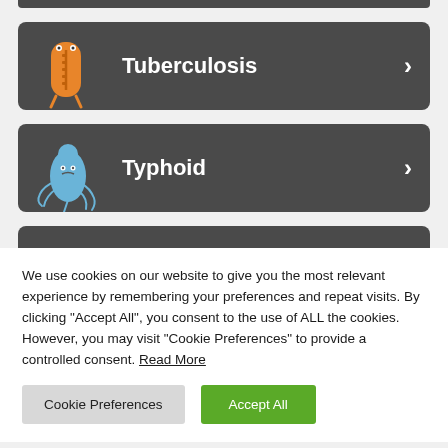[Figure (illustration): Tuberculosis disease menu card with orange cartoon bacteria character and white right-arrow chevron on dark grey background]
[Figure (illustration): Typhoid disease menu card with blue cartoon bacteria character and white right-arrow chevron on dark grey background]
[Figure (illustration): Partially visible third disease menu card with yellow sunburst cartoon character on dark grey background]
We use cookies on our website to give you the most relevant experience by remembering your preferences and repeat visits. By clicking "Accept All", you consent to the use of ALL the cookies. However, you may visit "Cookie Preferences" to provide a controlled consent. Read More
Cookie Preferences
Accept All